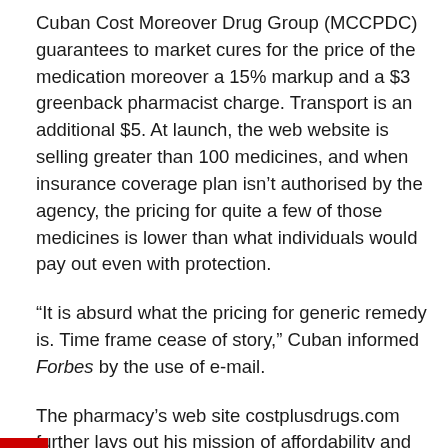Cuban Cost Moreover Drug Group (MCCPDC) guarantees to market cures for the price of the medication moreover a 15% markup and a $3 greenback pharmacist charge. Transport is an additional $5. At launch, the web website is selling greater than 100 medicines, and when insurance coverage plan isn't authorised by the agency, the pricing for quite a few of those medicines is lower than what individuals would pay out even with protection.
“It is absurd what the pricing for generic remedy is. Time frame cease of story,” Cuban informed Forbes by the use of e-mail.
The pharmacy’s web site costplusdrugs.com further lays out his mission of affordability and transparency. “We began Mark Cuban Worth Moreover Drug Group given that every American have to have acquire to safe, cost-effective medicines. In case you actually would not have protection or have a superior